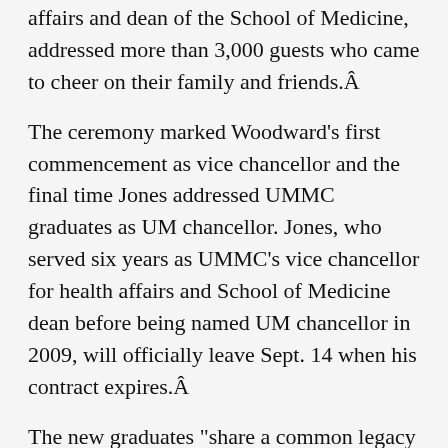affairs and dean of the School of Medicine, addressed more than 3,000 guests who came to cheer on their family and friends.Â
The ceremony marked Woodward's first commencement as vice chancellor and the final time Jones addressed UMMC graduates as UM chancellor. Jones, who served six years as UMMC's vice chancellor for health affairs and School of Medicine dean before being named UM chancellor in 2009, will officially leave Sept. 14 when his contract expires.Â
The new graduates "share a common legacy with all who have gone before you, and that's a mark of quality," said Jones, a UMMC graduate and physician whose patient care and research have focused on hypertension and prevention of cardiovascular disease.